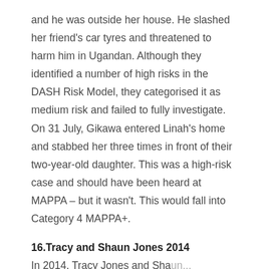and he was outside her house. He slashed her friend's car tyres and threatened to harm him in Ugandan. Although they identified a number of high risks in the DASH Risk Model, they categorised it as medium risk and failed to fully investigate. On 31 July, Gikawa entered Linah's home and stabbed her three times in front of their two-year-old daughter. This was a high-risk case and should have been heard at MAPPA – but it wasn't. This would fall into Category 4 MAPPA+.
16.Tracy and Shaun Jones 2014
In 2014, Tracy Jones and Shaun...